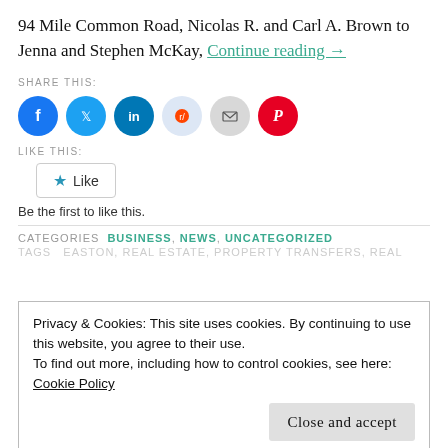94 Mile Common Road, Nicolas R. and Carl A. Brown to Jenna and Stephen McKay, Continue reading →
SHARE THIS:
[Figure (infographic): Six social sharing icon buttons: Facebook (blue), Twitter (blue), LinkedIn (dark blue), Reddit (light blue), Email (grey), Pinterest (red)]
LIKE THIS:
Like
Be the first to like this.
CATEGORIES  BUSINESS, NEWS, UNCATEGORIZED
TAGS  EASTON, REAL ESTATE, PROPERTY TRANSFERS, REAL...
Privacy & Cookies: This site uses cookies. By continuing to use this website, you agree to their use.
To find out more, including how to control cookies, see here:
Cookie Policy

Close and accept